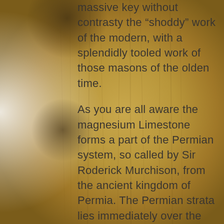[Figure (photo): Background photograph of aged stone or rock surface with golden-brown and tan tones, partially blurred, occupying the left and center portions of the page.]
massive key without contrasty the “shoddy” work of the modern, with a splendidly tooled work of those masons of the olden time.
As you are all aware the magnesium Limestone forms a part of the Permian system, so called by Sir Roderick Murchison, from the ancient kingdom of Permia. The Permian strata lies immediately over the Carboniferous system, and are composed of five divisions; Red Marl, Upper Magnesium Limestone, Marls and Sandstone, lower magnesium limestone and